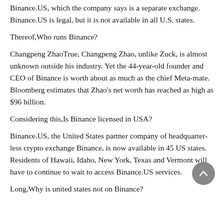Binance.US, which the company says is a separate exchange. Binance.US is legal, but it is not available in all U.S. states.
Thereof,Who runs Binance?
Changpeng ZhaoTrue, Changpeng Zhao, unlike Zuck, is almost unknown outside his industry. Yet the 44-year-old founder and CEO of Binance is worth about as much as the chief Meta-mate. Bloomberg estimates that Zhao's net worth has reached as high as $96 billion.
Considering this,Is Binance licensed in USA?
Binance.US, the United States partner company of headquarter-less crypto exchange Binance, is now available in 45 US states. Residents of Hawaii, Idaho, New York, Texas and Vermont will have to continue to wait to access Binance.US services.
Long,Why is united states not on Binance?